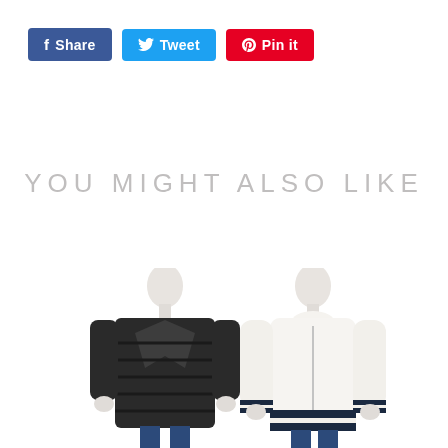[Figure (screenshot): Social share buttons: Facebook Share (blue), Tweet (cyan/blue), Pin it (red/Pinterest)]
YOU MIGHT ALSO LIKE
[Figure (photo): Mannequin wearing a dark charcoal/black striped oversized wool coat]
[Figure (photo): Mannequin wearing a white/cream zip-up fluffy jacket with navy striped hem, paired with blue jeans]